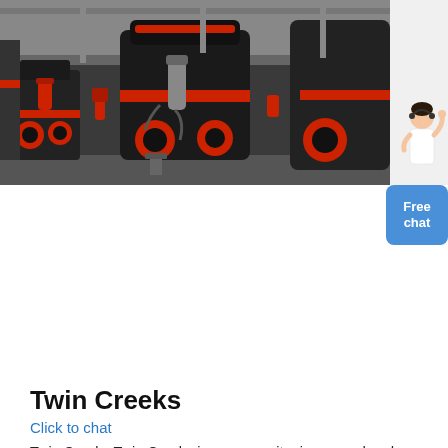[Figure (photo): Industrial machinery — large black and red mining crushers lined up in a factory/warehouse setting, photographed from ground level]
Twin Creeks
Twin Creeks Twin Creeks is an open pit mine owned and operated by Nevada Gold Mines LLC a joint venture between Barrick Gold Corporation Barrick 61.5 and Newmont Corporation Newmont 38.5 Twin Creeks is located in Humboldt County Nevada approximately 125 kilometers northwest of Elko Under the joint venture Barrick s Turquoise
Click to chat